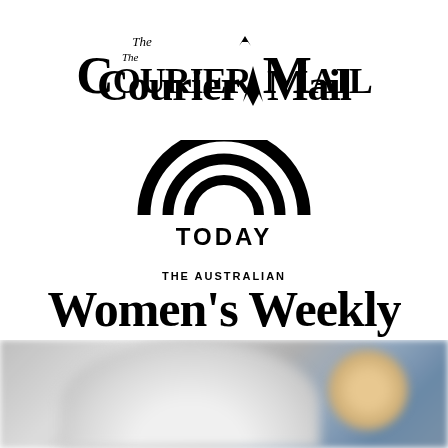[Figure (logo): The Courier Mail newspaper logo in blackletter/gothic font with a stylized map of Queensland between 'Courier' and 'Mail']
[Figure (logo): TODAY logo with a concentric rainbow arc above the word TODAY in bold sans-serif capitals]
[Figure (logo): The Australian Women's Weekly logo with 'THE AUSTRALIAN' in small caps above 'Women's Weekly' in large bold serif font]
[Figure (photo): Blurred photo of a person in white clothing, cropped at bottom of page]